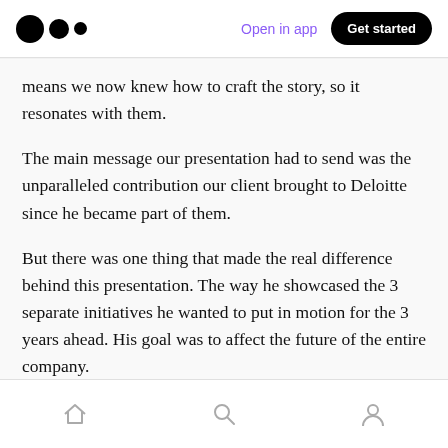Medium app header with logo, 'Open in app' link, and 'Get started' button
means we now knew how to craft the story, so it resonates with them.
The main message our presentation had to send was the unparalleled contribution our client brought to Deloitte since he became part of them.
But there was one thing that made the real difference behind this presentation. The way he showcased the 3 separate initiatives he wanted to put in motion for the 3 years ahead. His goal was to affect the future of the entire company.
Bottom navigation bar with home, search, and profile icons